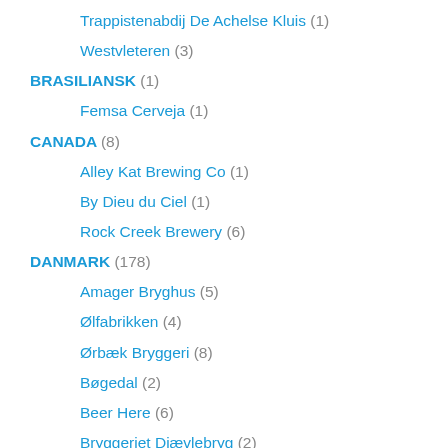Trappistenabdij De Achelse Kluis (1)
Westvleteren (3)
BRASILIANSK (1)
Femsa Cerveja (1)
CANADA (8)
Alley Kat Brewing Co (1)
By Dieu du Ciel (1)
Rock Creek Brewery (6)
DANMARK (178)
Amager Bryghus (5)
Ølfabrikken (4)
Ørbæk Bryggeri (8)
Bøgedal (2)
Beer Here (6)
Bryggeriet Djævlebryg (2)
Bryggeriet Refsvindinge (2)
Bryggeriet Skands (3)
Bryggeriet Skovlyst (3)
Bryggeriet Vestfyen (2)
Bryghuset Braunstein (2)